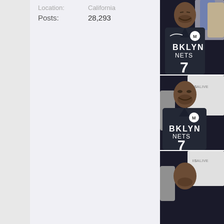Posts: 28,293
[Figure (photo): Basketball player wearing Brooklyn Nets #7 jersey (BKLYN NETS) with Motorola logo, appears to be Kevin Durant, shown in three repeated frames/animation frames celebrating]
[Figure (photo): Second frame of basketball player in Brooklyn Nets #7 jersey, with spectator in white shirt visible in background]
[Figure (photo): Third partial frame of basketball player in Brooklyn Nets #7 jersey]